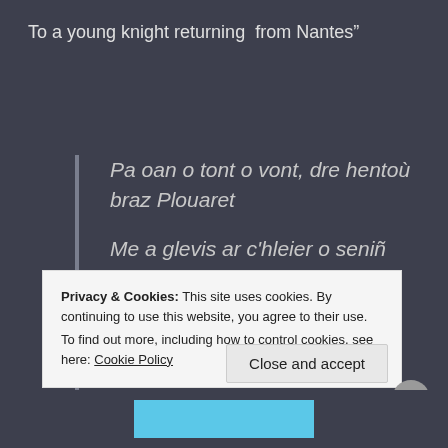To a young knight returning  from Nantes"
Pa oan o tont o vont, dre hentoù braz Plouaret
Me a glevis ar c'hleier o seniñ evit ma eured
Me a glevis a c'hlieier o soniñ evit ma eured
Privacy & Cookies: This site uses cookies. By continuing to use this website, you agree to their use.
To find out more, including how to control cookies, see here: Cookie Policy
Close and accept